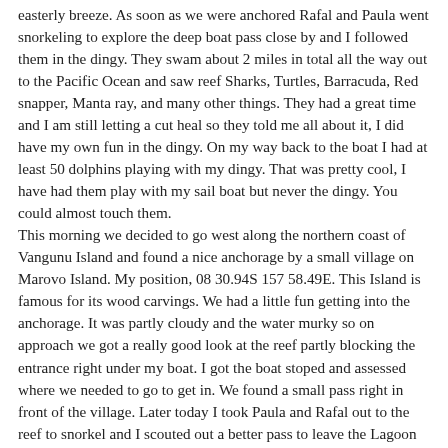easterly breeze. As soon as we were anchored Rafal and Paula went snorkeling to explore the deep boat pass close by and I followed them in the dingy. They swam about 2 miles in total all the way out to the Pacific Ocean and saw reef Sharks, Turtles, Barracuda, Red snapper, Manta ray, and many other things. They had a great time and I am still letting a cut heal so they told me all about it, I did have my own fun in the dingy. On my way back to the boat I had at least 50 dolphins playing with my dingy. That was pretty cool, I have had them play with my sail boat but never the dingy. You could almost touch them. This morning we decided to go west along the northern coast of Vangunu Island and found a nice anchorage by a small village on Marovo Island. My position, 08 30.94S 157 58.49E. This Island is famous for its wood carvings. We had a little fun getting into the anchorage. It was partly cloudy and the water murky so on approach we got a really good look at the reef partly blocking the entrance right under my boat. I got the boat stoped and assessed where we needed to go to get in. We found a small pass right in front of the village. Later today I took Paula and Rafal out to the reef to snorkel and I scouted out a better pass to leave the Lagoon